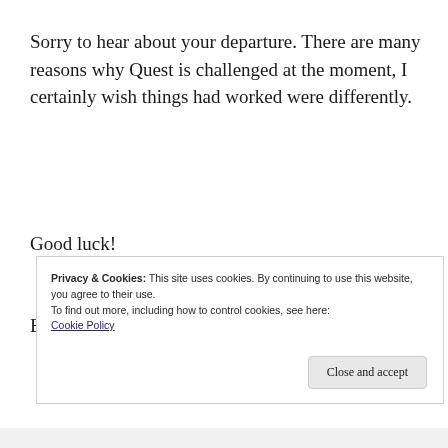Sorry to hear about your departure. There are many reasons why Quest is challenged at the moment, I certainly wish things had worked were differently.
Good luck!
Bob Bobel
Privacy & Cookies: This site uses cookies. By continuing to use this website, you agree to their use.
To find out more, including how to control cookies, see here: Cookie Policy
Close and accept